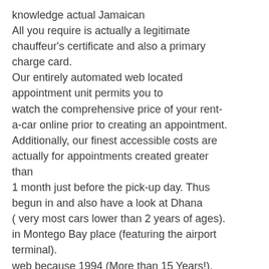knowledge actual Jamaican All you require is actually a legitimate chauffeur's certificate and also a primary charge card. Our entirely automated web located appointment unit permits you to watch the comprehensive price of your rent-a-car online prior to creating an appointment. Additionally, our finest accessible costs are actually for appointments created greater than 1 month just before the pick-up day. Thus begun in and also have a look at Dhana ( very most cars lower than 2 years of ages). in Montego Bay place (featuring the airport terminal). web because 1994 (More than 15 Years!). Review our consumers reviews through clicking on. DHANA CAR rental cars jamaica & TOURS, Ltd . Store 4 Holiday Village Shopping Centre I am actually merely uploading this due to the